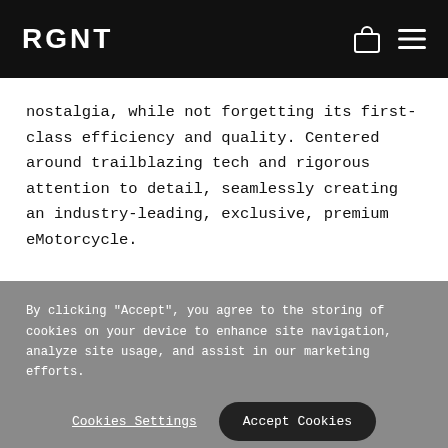RGNT
nostalgia, while not forgetting its first-class efficiency and quality. Centered around trailblazing tech and rigorous attention to detail, seamlessly creating an industry-leading, exclusive, premium eMotorcycle.
By clicking "Accept", you agree to the storing of cookies on your device to enhance site navigation, analyze site usage, and assist in our marketing efforts.
Cookies Settings  Accept Cookies